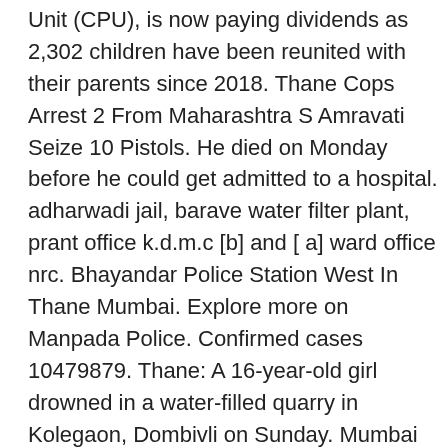Unit (CPU), is now paying dividends as 2,302 children have been reunited with their parents since 2018. Thane Cops Arrest 2 From Maharashtra S Amravati Seize 10 Pistols. He died on Monday before he could get admitted to a hospital. adharwadi jail, barave water filter plant, prant office k.d.m.c [b] and [ a] ward office nrc. Bhayandar Police Station West In Thane Mumbai. Explore more on Manpada Police. Confirmed cases 10479879. Thane: A 16-year-old girl drowned in a water-filled quarry in Kolegaon, Dombivli on Sunday. Mumbai News | mid-day.com | Monday August 6, 2012 . 09:30 IST | 04:00 GMT, Bangladesh vs West Indies - 2nd Test Match, 11 Feb, 2021 a. s. mohite mob. Manpada Police Station Unit . PTI Feeds | May 27, 2017 9:33 PM IST. He has been arrested. The Kopineshwar Temple on the banks is the oldest temple in the entire district of Thane. Thackre had come to Manpada Police station to request their aid in bringing his wife back from her maternal home. Manpada Police Station Unit open now. Posts about